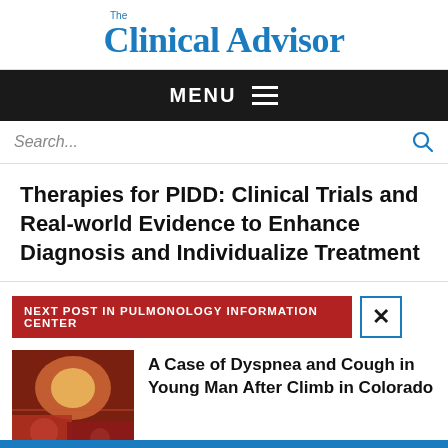Clinical Advisor
MENU
Search...
Therapies for PIDD: Clinical Trials and Real-world Evidence to Enhance Diagnosis and Individualize Treatment
NEXT POST IN PULMONOLOGY INFORMATION CENTER
A Case of Dyspnea and Cough in Young Man After Climb in Colorado